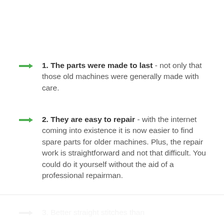1. The parts were made to last - not only that those old machines were generally made with care.
2. They are easy to repair - with the internet coming into existence it is now easier to find spare parts for older machines. Plus, the repair work is straightforward and not that difficult. You could do it yourself without the aid of a professional repairman.
3. Better straight stitches than...